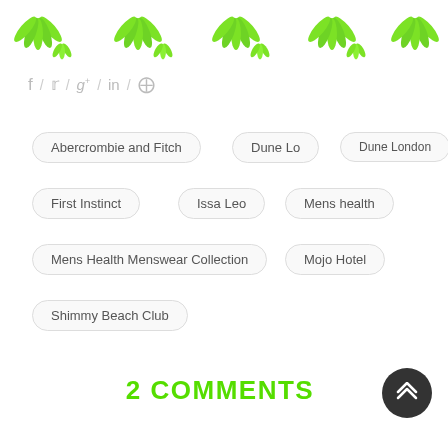[Figure (illustration): Decorative green leaf/feather pattern border across the top of the page]
f / 𝕏 / g+ / in / ⊕
Abercrombie and Fitch
Dune Lo
Dune London
First Instinct
Issa Leo
Mens health
Mens Health Menswear Collection
Mojo Hotel
Shimmy Beach Club
2 COMMENTS